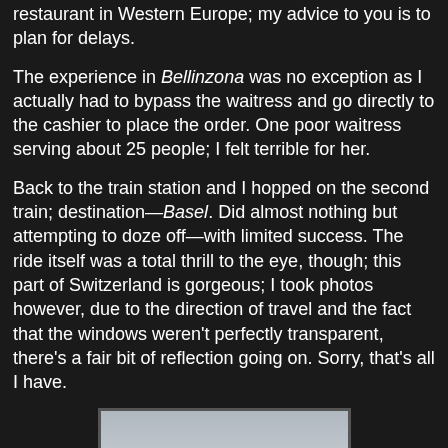restaurant in Western Europe; my advice to you is to plan for delays.
The experience in Bellinzona was no exception as I actually had to bypass the waitress and go directly to the cashier to place the order. One poor waitress serving about 25 people; I felt terrible for her.
Back to the train station and I hopped on the second train; destination—Basel. Did almost nothing but attempting to doze off—with limited success. The ride itself was a total thrill to the eye, though; this part of Switzerland is gorgeous; I took photos however, due to the direction of travel and the fact that the windows weren't perfectly transparent, there's a fair bit of reflection going on. Sorry, that's all I have.
[Figure (photo): Photo taken from a train window showing mountainous Swiss landscape with forested hills and a rooftop in the foreground, with circular reflection visible on the window glass.]